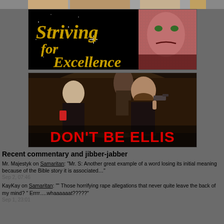[Figure (photo): Top strip of a partially visible image from a previous page item, dark toned]
[Figure (photo): Banner image reading 'Striving for Excellence' in gold script with sparkles on black background, comic-style face of a man on right side]
[Figure (photo): Movie still showing people in a bar scene with a man holding a gun, red text at bottom reading DON'T BE ELLIS]
Recent commentary and jibber-jabber
Mr. Majestyk on Samaritan: "Mr. S: Another great example of a word losing its initial meaning because of the Bible story it is associated…"
Sep 2, 07:46
KayKay on Samaritan: "" Those horrifying rape allegations that never quite leave the back of my mind? " Errrr….whaaaaaat?????"
Sep 1, 23:01